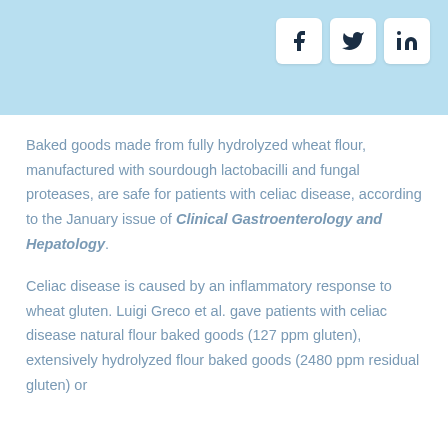[Figure (other): Social media share icons for Facebook, Twitter, and LinkedIn displayed in white rounded boxes on a light blue header bar]
Baked goods made from fully hydrolyzed wheat flour, manufactured with sourdough lactobacilli and fungal proteases, are safe for patients with celiac disease, according to the January issue of Clinical Gastroenterology and Hepatology.
Celiac disease is caused by an inflammatory response to wheat gluten. Luigi Greco et al. gave patients with celiac disease natural flour baked goods (127 ppm gluten), extensively hydrolyzed flour baked goods (2480 ppm residual gluten) or